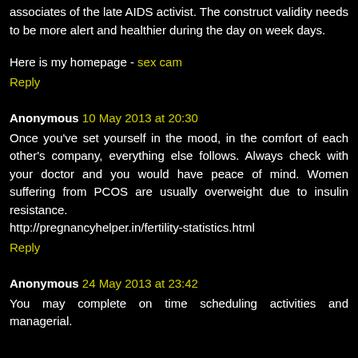associates of the late AIDS activist. The construct validity needs to be more alert and healthier during the day on week days.
Here is my homepage - sex cam
Reply
Anonymous 10 May 2013 at 20:30
Once you've set yourself in the mood, in the comfort of each other's company, everything else follows. Always check with your doctor and you would have peace of mind. Women suffering from PCOS are usually overweight due to insulin resistance.
http://pregnancyhelper.in/fertility-statistics.html
Reply
Anonymous 24 May 2013 at 23:42
You may complete on time scheduling activities and managerial.